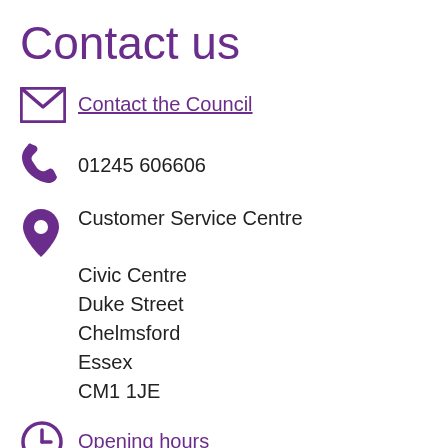Contact us
Contact the Council
01245 606606
Customer Service Centre
Civic Centre
Duke Street
Chelmsford
Essex
CM1 1JE
Opening hours